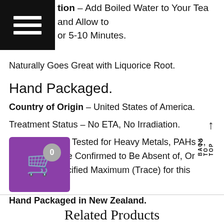[Figure (other): Hamburger menu icon — three white horizontal lines on a black square background]
tion – Add Boiled Water to Your Tea and Allow to or 5-10 Minutes.
Naturally Goes Great with Liquorice Root.
Hand Packaged.
Country of Origin – United States of America.
Treatment Status – No ETA, No Irradiation.
All Batches are Tested for Heavy Metals, PAHs 2, PAHs 4 and Are Confirmed to Be Absent of, Or Below the Specified Maximum (Trace) for this Product.
Hand Packaged in New Zealand.
[Figure (other): Purple shopping cart button with 0 badge, and a 'BACK TO TOP' vertical text with upward arrow on the right]
Related Products